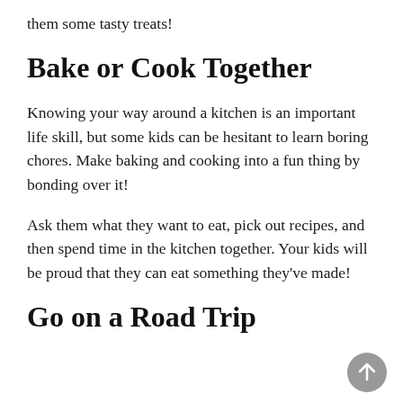them some tasty treats!
Bake or Cook Together
Knowing your way around a kitchen is an important life skill, but some kids can be hesitant to learn boring chores. Make baking and cooking into a fun thing by bonding over it!
Ask them what they want to eat, pick out recipes, and then spend time in the kitchen together. Your kids will be proud that they can eat something they've made!
Go on a Road Trip